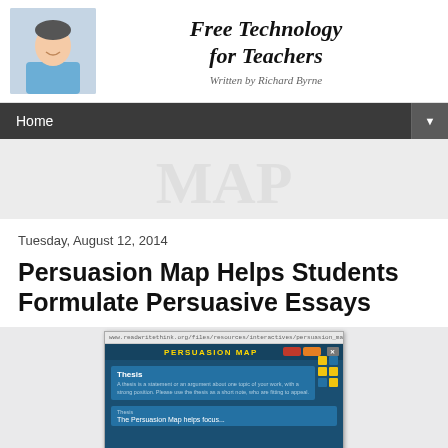Free Technology for Teachers — Written by Richard Byrne
Home
Tuesday, August 12, 2014
Persuasion Map Helps Students Formulate Persuasive Essays
[Figure (screenshot): Screenshot of the Persuasion Map web tool showing a blue interface with 'PERSUASION MAP' title, Thesis section with text input, and yellow dot grid navigation on the right side.]